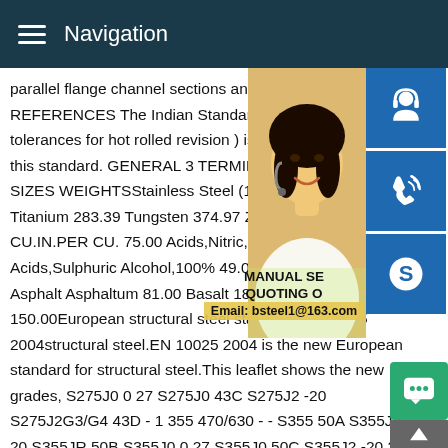Navigation
parallel flange channel sections and equal sections.2 REFERENCES The Indian Standard Rolled and cutting tolerances for hot rolled revision ) is a necessary adjunct to this standard. GENERAL 3 TERMINOLOGY 3.1 Y-Y Axis SIZES WEIGHTSStainless Steel (18-8) 490.00 Tin 455.67 Titanium 283.39 Tungsten 374.97 Zinc 445.30 *1728 CU.IN.PER CU. 75.00 Acids,Nitric,91% 94.00 Acids,Sulphuric Alcohol,100% 49.00 Asbestos 153.00 Asphalt Asphaltum 81.00 Basalt 184.00 Brick,Paving 150.00European structural steel standard EN 10025 2004structural steel.EN 10025 2004 is the new European standard for structural steel.This leaflet shows the new grades, S275J0 0 27 S275J0 43C S275J2 -20 S275J2G3/G4 43D - 1 355 470/630 - - S355 50A S355JR 2 20 S355JR 50B S355J0 0 27 S355J0 50C S355J2 -20 27
[Figure (photo): Woman with headset/customer service representative photo, partially visible on right side of page]
[Figure (infographic): Three blue icon buttons on right side: customer service headset icon, phone/wifi icon, Skype icon; plus MANUAL SE, QUOTING O, and Email: bsteel1@163.com overlay text; green chat bubble and grey arrow-up button at bottom right]